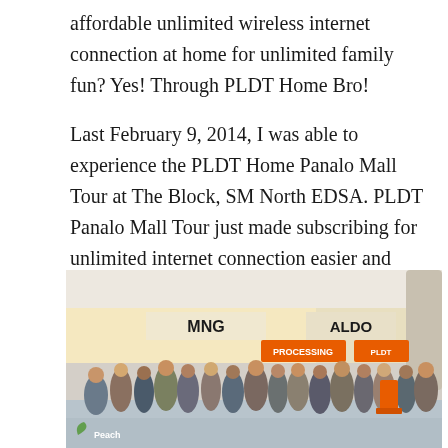affordable unlimited wireless internet connection at home for unlimited family fun? Yes! Through PLDT Home Bro!
Last February 9, 2014, I was able to experience the PLDT Home Panalo Mall Tour at The Block, SM North EDSA. PLDT Panalo Mall Tour just made subscribing for unlimited internet connection easier and more fun by bringing it to the mall.
[Figure (photo): Crowd of people at PLDT Home Panalo Mall Tour at The Block, SM North EDSA. People are lining up at orange PLDT booths labeled 'PROCESSING'. MNG and ALDO store signs visible in background. Indoor mall setting with high ceilings and reflective floor.]